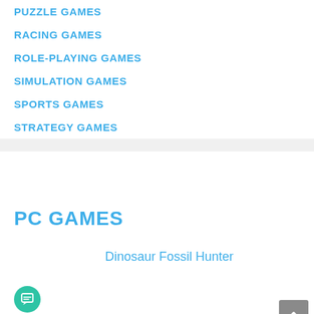PUZZLE GAMES
RACING GAMES
ROLE-PLAYING GAMES
SIMULATION GAMES
SPORTS GAMES
STRATEGY GAMES
PC GAMES
Dinosaur Fossil Hunter